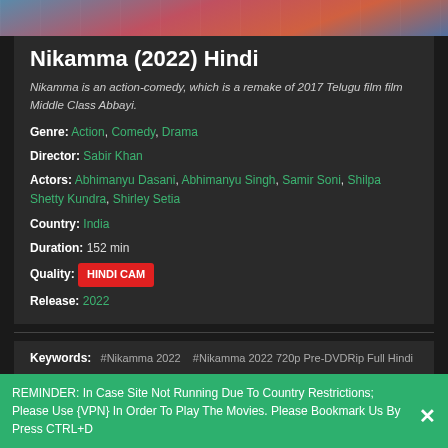[Figure (photo): Top portion of a movie poster showing people in colorful clothing]
Nikamma (2022) Hindi
Nikamma is an action-comedy, which is a remake of 2017 Telugu film film Middle Class Abbayi.
Genre: Action, Comedy, Drama
Director: Sabir Khan
Actors: Abhimanyu Dasani, Abhimanyu Singh, Samir Soni, Shilpa Shetty Kundra, Shirley Setia
Country: India
Duration: 152 min
Quality: HINDI CAM
Release: 2022
Keywords: #Nikamma 2022  #Nikamma 2022 720p Pre-DVDRip Full Hindi Movie Download  #Nikamma 2022 Bollywood  #Nikamma 2022 Full HD Movie Download  #Nikamma 2022 Full Movie Download 720p  #Nikamma 2022 Full Movie Download Movie  #Nikamma 2022 Full Movie Download Watch Online Free HD Movies Counter  #Nikamma 2022 Full Movie Download Watch Online Free HD Streaming #Permalink 2022
REMINDER: In Case Site Not Running Due To Country Restrictions; Please Use {VPN} In Order To Play The Movies. Please Bookmark Us By Press CTRL+D